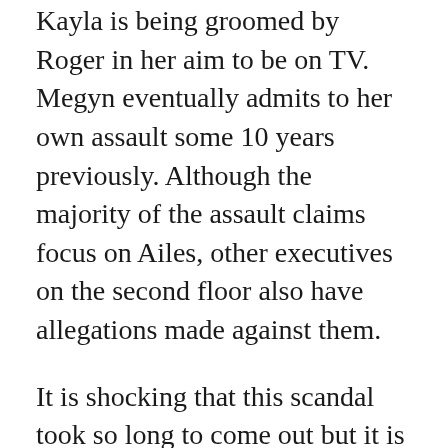Kayla is being groomed by Roger in her aim to be on TV. Megyn eventually admits to her own assault some 10 years previously. Although the majority of the assault claims focus on Ailes, other executives on the second floor also have allegations made against them.
It is shocking that this scandal took so long to come out but it is not so surprising seeing how Ailes and the others treat the female presenters. They all have to wear short, tight dresses showing cleavage and with Spanx to look as thin as possible. There is one scene in the wardrobe department where there are racks and racks of dresses in every colour and one woman in at least two layers of Spanx. Someone asks to wear trousers and they are